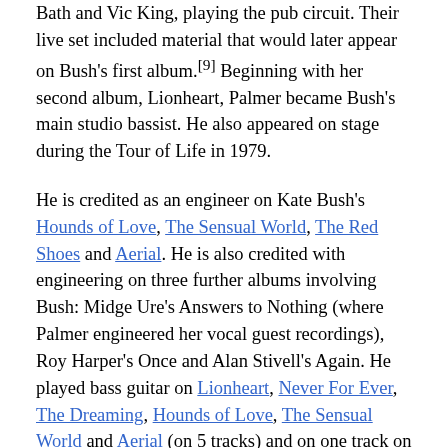Bath and Vic King, playing the pub circuit. Their live set included material that would later appear on Bush's first album.[9] Beginning with her second album, Lionheart, Palmer became Bush's main studio bassist. He also appeared on stage during the Tour of Life in 1979.
He is credited as an engineer on Kate Bush's Hounds of Love, The Sensual World, The Red Shoes and Aerial. He is also credited with engineering on three further albums involving Bush: Midge Ure's Answers to Nothing (where Palmer engineered her vocal guest recordings), Roy Harper's Once and Alan Stivell's Again. He played bass guitar on Lionheart, Never For Ever, The Dreaming, Hounds of Love, The Sensual World and Aerial (on 5 tracks) and on one track on 50 Words for Snow.
Palmer plays bass on Billy Sherwood's 'Back Against the